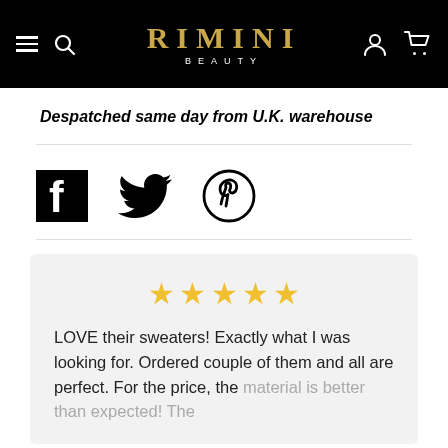[Figure (logo): Rimini Beauty website header with black background, hamburger menu, search icon, logo in gold serif font, user and cart icons]
Despatched same day from U.K. warehouse
[Figure (infographic): Social media share icons: Facebook, Twitter (bird), Pinterest]
LOVE their sweaters! Exactly what I was looking for. Ordered couple of them and all are perfect. For the price, the material is better than expected! The
[Figure (other): Five gold star rating]